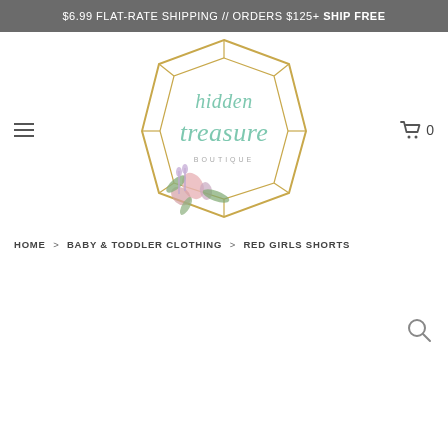$6.99 FLAT-RATE SHIPPING // ORDERS $125+ SHIP FREE
[Figure (logo): Hidden Treasure Boutique logo — geometric hexagon shape in gold with script text and floral decoration]
HOME > BABY & TODDLER CLOTHING > RED GIRLS SHORTS